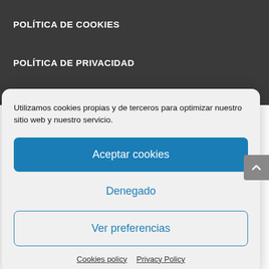POLÍTICA DE COOKIES
POLÍTICA DE PRIVACIDAD
AVISOS LEGALES
Utilizamos cookies propias y de terceros para optimizar nuestro sitio web y nuestro servicio.
Aceptar cookies
Denegado
Ver preferencias
Cookies policy   Privacy Policy